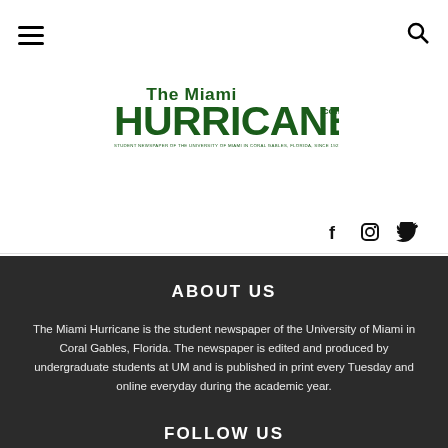[Figure (logo): The Miami Hurricane logo - green text logo with 'The Miami' above 'HURRICANE.com' and tagline 'STUDENT NEWSPAPER OF THE UNIVERSITY OF MIAMI IN CORAL GABLES, FLORIDA, SINCE 1929']
[Figure (infographic): Social media icons: Facebook (f), Instagram (camera), Twitter (bird)]
ABOUT US
The Miami Hurricane is the student newspaper of the University of Miami in Coral Gables, Florida. The newspaper is edited and produced by undergraduate students at UM and is published in print every Tuesday and online everyday during the academic year.
FOLLOW US